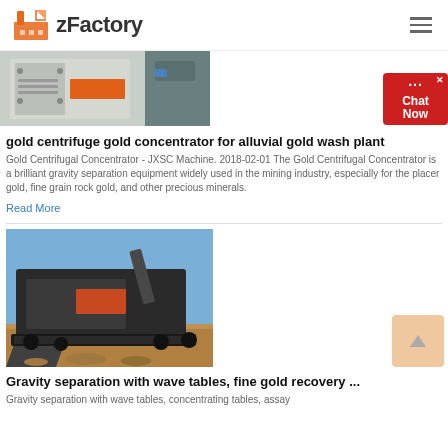zFactory
[Figure (photo): Industrial gold centrifuge / concentrator equipment, beige/white colored machine with orange accent panel]
gold centrifuge gold concentrator for alluvial gold wash plant
Gold Centrifugal Concentrator - JXSC Machine. 2018-02-01 The Gold Centrifugal Concentrator is a brilliant gravity separation equipment widely used in the mining industry, especially for the placer gold, fine grain rock gold, and other precious minerals.
Read More
[Figure (photo): Large gravity separation / wave table machine outdoors in arid environment, heavy industrial mining equipment on tracked undercarriage]
Gravity separation with wave tables, fine gold recovery ...
Gravity separation with wave tables, concentrating tables, assay